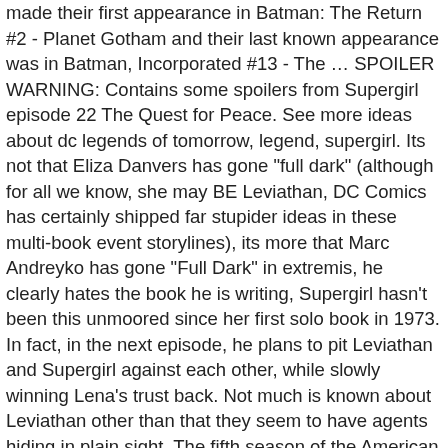made their first appearance in Batman: The Return #2 - Planet Gotham and their last known appearance was in Batman, Incorporated #13 - The ... SPOILER WARNING: Contains some spoilers from Supergirl episode 22 The Quest for Peace. See more ideas about dc legends of tomorrow, legend, supergirl. Its not that Eliza Danvers has gone "full dark" (although for all we know, she may BE Leviathan, DC Comics has certainly shipped far stupider ideas in these multi-book event storylines), its more that Marc Andreyko has gone "Full Dark" in extremis, he clearly hates the book he is writing, Supergirl hasn't been this unmoored since her first solo book in 1973. In fact, in the next episode, he plans to pit Leviathan and Supergirl against each other, while slowly winning Lena's trust back. Not much is known about Leviathan other than that they seem to have agents hiding in plain sight. The fifth season of the American television series Supergirl, which is based on the DC Comics character Kara Zor-El / Supergirl, premiered on The CW on October 6, 2019, and consisted of 19 episodes.